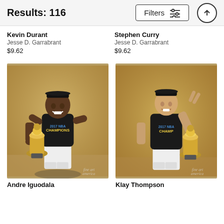Results: 116
Kevin Durant
Jesse D. Garrabrant
$9.62
Stephen Curry
Jesse D. Garrabrant
$9.62
[Figure (photo): NBA player Andre Iguodala holding the Larry O'Brien Championship Trophy, wearing a 2017 NBA Champions black t-shirt, smiling. Fine Art America watermark visible.]
[Figure (photo): NBA player Klay Thompson holding the Larry O'Brien Championship Trophy, making a peace sign with his hand, wearing a 2017 NBA Champions black t-shirt. Fine Art America watermark visible.]
Andre Iguodala
Klay Thompson